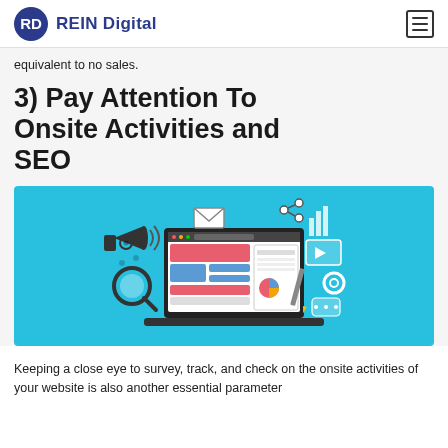REIN Digital
equivalent to no sales.
3) Pay Attention To Onsite Activities and SEO
[Figure (illustration): Digital marketing illustration on a cyan/teal background showing a laptop with web content, megaphone, magnifying glass, pie chart, bar chart, video player, gear icons, and other digital marketing icons.]
Keeping a close eye to survey, track, and check on the onsite activities of your website is also another essential parameter